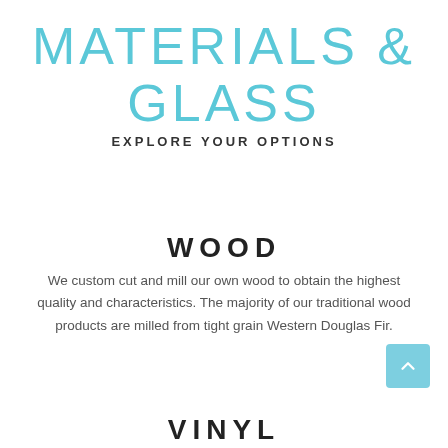MATERIALS & GLASS
EXPLORE YOUR OPTIONS
WOOD
We custom cut and mill our own wood to obtain the highest quality and characteristics. The majority of our traditional wood products are milled from tight grain Western Douglas Fir.
VINYL